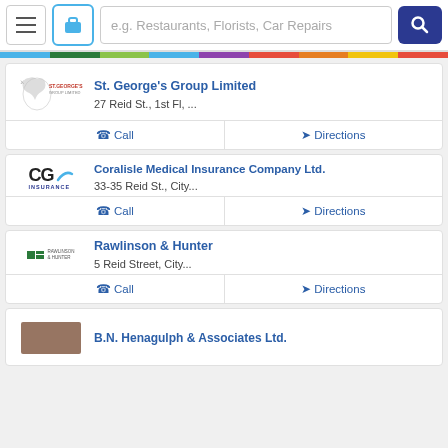e.g. Restaurants, Florists, Car Repairs
St. George's Group Limited
27 Reid St., 1st Fl, ...
Coralisle Medical Insurance Company Ltd.
33-35 Reid St., City...
Rawlinson & Hunter
5 Reid Street, City...
B.N. Henagulph & Associates Ltd.